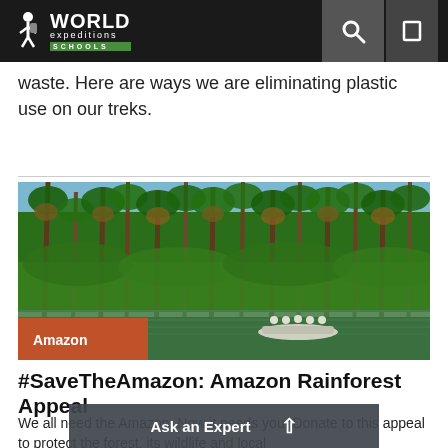World Expeditions Schools
waste. Here are ways we are eliminating plastic use on our treks.
[Figure (photo): Amazon rainforest image showing tall palm trees reflected in a still river/lake with a boat carrying people visible in the distance. Orange label overlay reads 'Amazon'.]
#SaveTheAmazon: Amazon Rainforest Appeal
We all need the Amazon. Now it needs you. Donate to this appeal to protect the forest, its wildlife and local